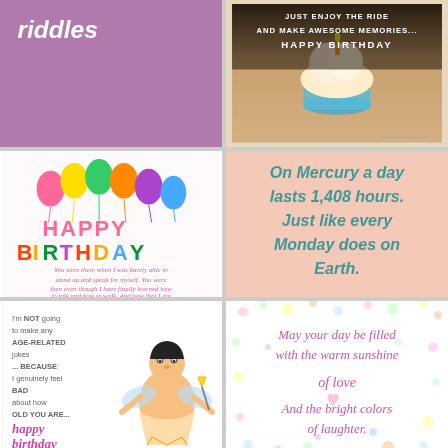[Figure (illustration): Purple/mauve background card with white italic bold text 'riddles' at top left]
[Figure (photo): Cupcake photo with text overlay: 'JUST ENJOY THE RIDE AND MAKE AWESOME MEMORIES... HAPPY BIRTHDAY']
[Figure (illustration): Happy Birthday greeting card with colorful balloons and multicolored HAPPY BIRTHDAY text, cursive pink subtext about being there when I was barely able to stand up]
[Figure (illustration): Peach/salmon background with teal italic bold text: 'On Mercury a day lasts 1,408 hours. Just like every Monday does on Earth.']
[Figure (illustration): White card with cartoon fairy/angel character and text: 'I'm NOT going to make any AGE-RELATED jokes... BECAUSE I genuinely feel BAD about how OLD YOU ARE... HAPPY BIRTHDAY']
[Figure (illustration): White background with colorful dots and pink italic text: 'May your day be filled with the warm sunshine of love And the bright colors of laughter.']